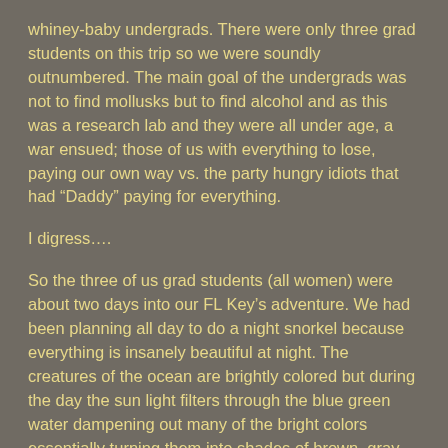whiney-baby undergrads. There were only three grad students on this trip so we were soundly outnumbered. The main goal of the undergrads was not to find mollusks but to find alcohol and as this was a research lab and they were all under age, a war ensued; those of us with everything to lose, paying our own way vs. the party hungry idiots that had “Daddy” paying for everything.
I digress….
So the three of us grad students (all women) were about two days into our FL Key’s adventure. We had been planning all day to do a night snorkel because everything is insanely beautiful at night. The creatures of the ocean are brightly colored but during the day the sun light filters through the blue green water dampening out many of the bright colors essentially turning them into shades of brown, gray mud.